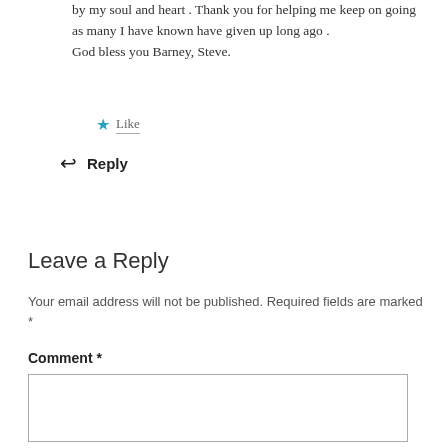by my soul and heart . Thank you for helping me keep on going as many I have known have given up long ago .
God bless you Barney, Steve.
★ Like
↩ Reply
Leave a Reply
Your email address will not be published. Required fields are marked *
Comment *